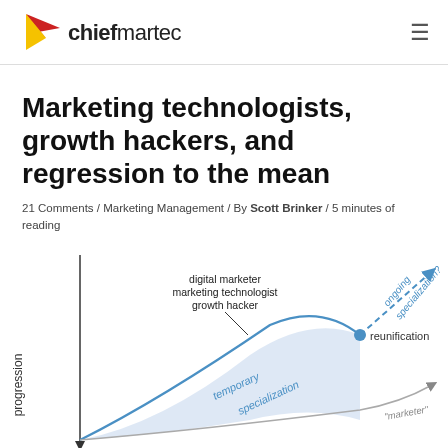chiefmartec
Marketing technologists, growth hackers, and regression to the mean
21 Comments / Marketing Management / By Scott Brinker / 5 minutes of reading
[Figure (illustration): Diagram showing a curve of 'progression' over time with labels: 'digital marketer', 'marketing technologist', 'growth hacker', 'temporary specialization', 'reunification', and a dashed arrow labeled 'ongoing specialization?'. A shaded area under the curve and a dot at the reunification point are shown.]